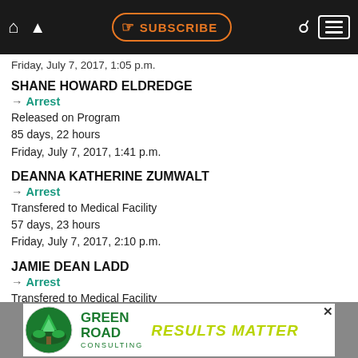SUBSCRIBE — navigation bar
Friday, July 7, 2017, 1:05 p.m.
SHANE HOWARD ELDREDGE
→ Arrest
Released on Program
85 days, 22 hours
Friday, July 7, 2017, 1:41 p.m.
DEANNA KATHERINE ZUMWALT
→ Arrest
Transfered to Medical Facility
57 days, 23 hours
Friday, July 7, 2017, 2:10 p.m.
JAMIE DEAN LADD
→ Arrest
Transfered to Medical Facility
134 days, 21 hours
[Figure (other): Green Road Consulting advertisement banner — logo with mountain/tree graphic, text: GREEN ROAD CONSULTING, RESULTS MATTER]